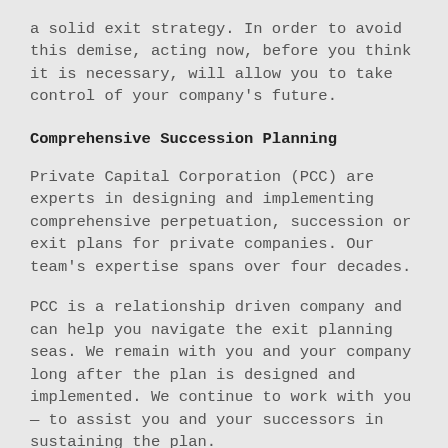a solid exit strategy. In order to avoid this demise, acting now, before you think it is necessary, will allow you to take control of your company's future.
Comprehensive Succession Planning
Private Capital Corporation (PCC) are experts in designing and implementing comprehensive perpetuation, succession or exit plans for private companies. Our team's expertise spans over four decades.
PCC is a relationship driven company and can help you navigate the exit planning seas. We remain with you and your company long after the plan is designed and implemented. We continue to work with you — to assist you and your successors in sustaining the plan.